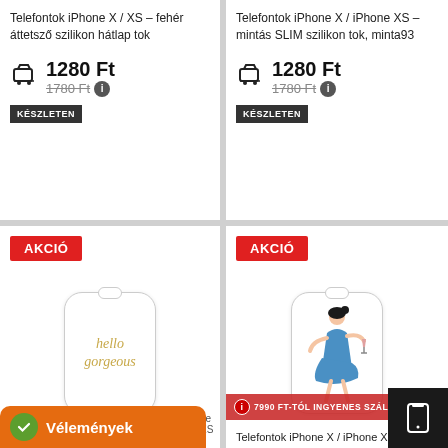Telefontok iPhone X / XS – fehér áttetsző szilikon hátlap tok
1280 Ft
KÉSZLETEN
1780 Ft
Telefontok iPhone X / iPhone XS – mintás SLIM szilikon tok, minta93
1280 Ft
KÉSZLETEN
1780 Ft
[Figure (photo): Phone case with hello gorgeous text in gold italic script]
AKCIÓ
7990 FT-TÓL INGYENES SZÁLLÍTÁS
[Figure (illustration): Phone case with illustration of a woman in blue dress holding a glass]
AKCIÓ
Telefontok iPhone X / iPhone XS –
Vélemények